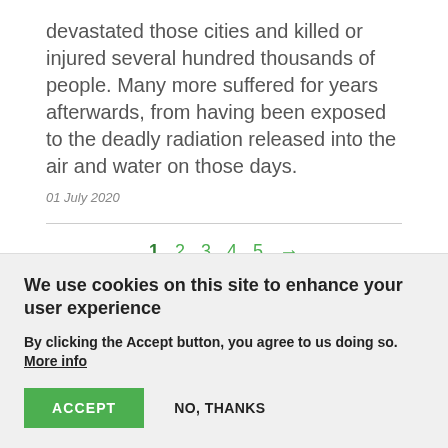devastated those cities and killed or injured several hundred thousands of people. Many more suffered for years afterwards, from having been exposed to the deadly radiation released into the air and water on those days.
01 July 2020
1 2 3 4 5 →
We use cookies on this site to enhance your user experience
By clicking the Accept button, you agree to us doing so. More info
ACCEPT   NO, THANKS